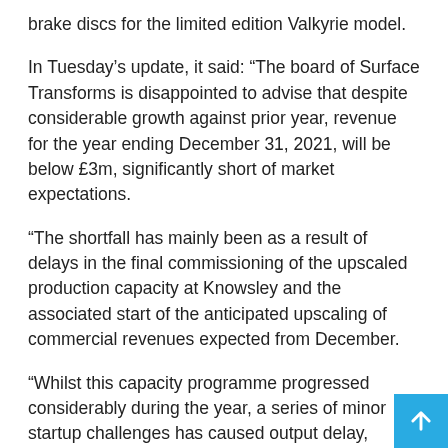brake discs for the limited edition Valkyrie model.
In Tuesday's update, it said: “The board of Surface Transforms is disappointed to advise that despite considerable growth against prior year, revenue for the year ending December 31, 2021, will be below £3m, significantly short of market expectations.
“The shortfall has mainly been as a result of delays in the final commissioning of the upscaled production capacity at Knowsley and the associated start of the anticipated upscaling of commercial revenues expected from December.
“Whilst this capacity programme progressed considerably during the year, a series of minor startup challenges has caused output delay, resulted in Q4 output missing target. By December, these issues have been narrowed down to an issue with one particularly complex furnace, which the